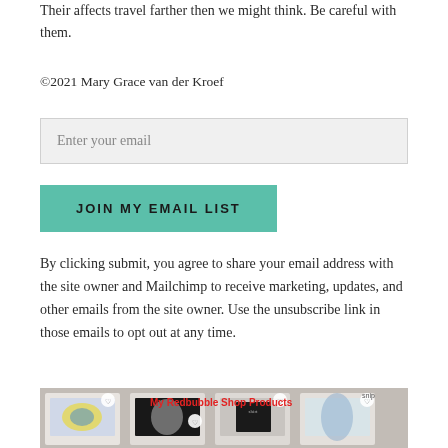Their affects travel farther then we might think. Be careful with them.
©2021 Mary Grace van der Kroef
Enter your email
JOIN MY EMAIL LIST
By clicking submit, you agree to share your email address with the site owner and Mailchimp to receive marketing, updates, and other emails from the site owner. Use the unsubscribe link in those emails to opt out at any time.
[Figure (photo): Banner image showing Redbubble shop products including notebooks, apparel and phone cases with text 'My Redbubble Shop Products' in red]